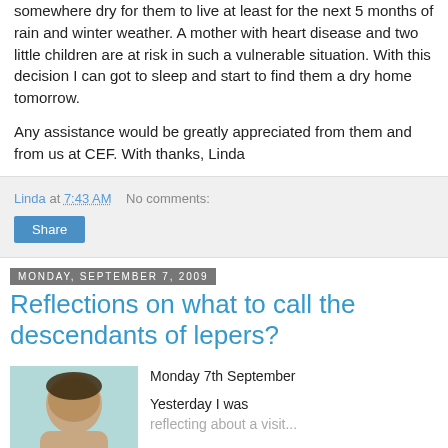somewhere dry for them to live at least for the next 5 months of rain and winter weather. A mother with heart disease and two little children are at risk in such a vulnerable situation. With this decision I can got to sleep and start to find them a dry home tomorrow.
Any assistance would be greatly appreciated from them and from us at CEF. With thanks, Linda
Linda at 7:43 AM   No comments:
Share
Monday, September 7, 2009
Reflections on what to call the descendants of lepers?
[Figure (photo): Photo of a person, head and shoulders, with a teal/blue-green background]
Monday 7th September

Yesterday I was reflecting about a visit...